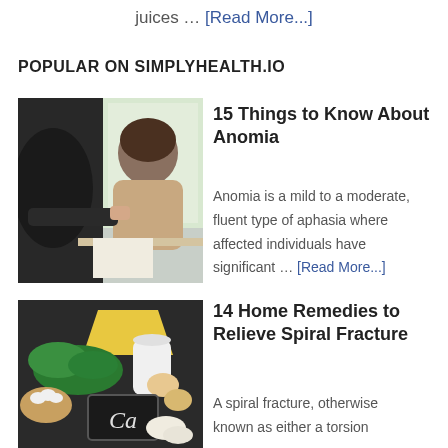juices … [Read More...]
POPULAR ON SIMPLYHEALTH.IO
[Figure (photo): A person leaning over a desk or table, appearing distressed, with another person nearby, indoor setting with window light]
15 Things to Know About Anomia
Anomia is a mild to a moderate, fluent type of aphasia where affected individuals have significant … [Read More...]
[Figure (photo): Various calcium-rich foods including dairy products, eggs, herbs, and a chalkboard sign with Ca written on it]
14 Home Remedies to Relieve Spiral Fracture
A spiral fracture, otherwise known as either a torsion